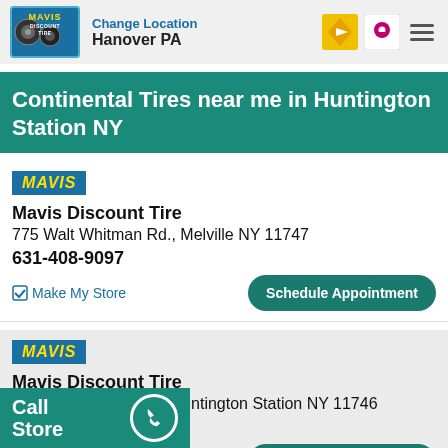Change Location Hanover PA
Continental Tires near me in Huntington Station NY
Mavis Discount Tire
775 Walt Whitman Rd., Melville NY 11747
631-408-9097
Make My Store | Schedule Appointment
Mavis Discount Tire
20 West Jericho Tpk., Huntington Station NY 11746
631-492-1400
Make My Store | Schedule Appointment
Call Store